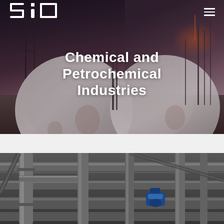[Figure (photo): Industrial chemical plant with large spherical storage tanks against a dramatic dusk sky. Pipes and scaffolding visible.]
SiO
Chemical and Petrochemical Industries
[Figure (photo): Close-up of industrial pipes and fittings at a chemical/petrochemical facility, shown in grayscale with a blue valve component visible.]